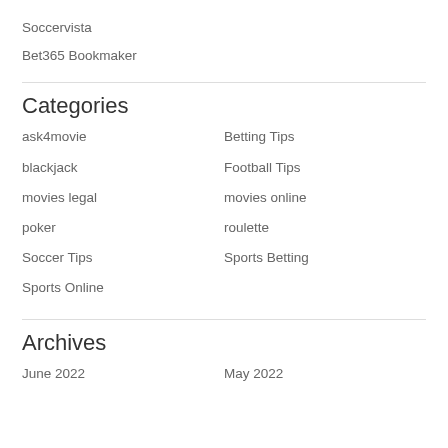Soccervista
Bet365 Bookmaker
Categories
ask4movie
Betting Tips
blackjack
Football Tips
movies legal
movies online
poker
roulette
Soccer Tips
Sports Betting
Sports Online
Archives
June 2022
May 2022